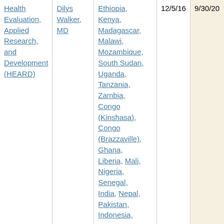| Organization | Contact | Countries | Start Date | End Date |
| --- | --- | --- | --- | --- |
| Health Evaluation, Applied Research, and Development (HEARD) | Dilys Walker, MD | Ethiopia, Kenya, Madagascar, Malawi, Mozambique, South Sudan, Uganda, Tanzania, Zambia, Congo (Kinshasa), Congo (Brazzaville), Ghana, Liberia, Mali, Nigeria, Senegal, India, Nepal, Pakistan, Indonesia, | 12/5/16 | 9/30/20 |